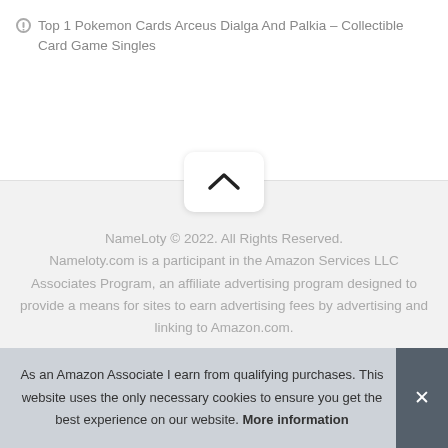Top 1 Pokemon Cards Arceus Dialga And Palkia – Collectible Card Game Singles
[Figure (other): Scroll-to-top chevron button (up arrow) on a white rounded rectangle card]
NameLoty © 2022. All Rights Reserved. Nameloty.com is a participant in the Amazon Services LLC Associates Program, an affiliate advertising program designed to provide a means for sites to earn advertising fees by advertising and linking to Amazon.com.
As an Amazon Associate I earn from qualifying purchases. This website uses the only necessary cookies to ensure you get the best experience on our website. More information